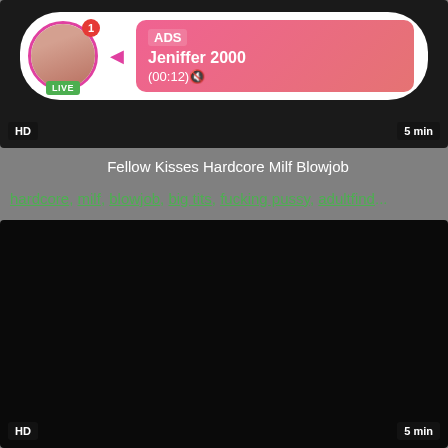[Figure (screenshot): Video thumbnail with dark background showing an ad overlay. Ad overlay shows avatar with LIVE badge, notification badge with '1', pink/red gradient info box with 'ADS', 'Jeniffer 2000', '(00:12)🔇'. HD badge bottom left, '5 min' badge bottom right.]
Fellow Kisses Hardcore Milf Blowjob
hardcore, milf, blowjob, big tits, fucking pussy, adultfind...
[Figure (screenshot): Dark/black video thumbnail. HD badge bottom left, '5 min' badge bottom right.]